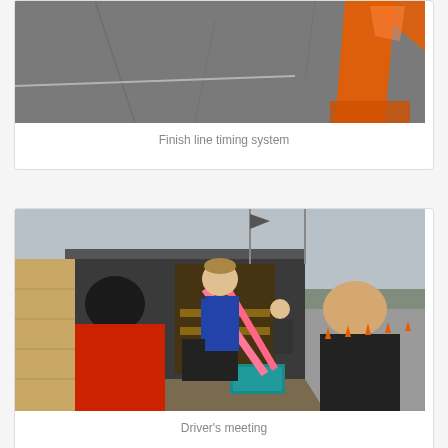[Figure (photo): Finish line timing system showing asphalt ground with orange traffic cone]
Finish line timing system
[Figure (photo): Driver's meeting at an autocross event, showing people gathered near a trailer, orange cones visible on parking lot in background, man in red hoodie in foreground]
Driver's meeting
[Figure (photo): Outdoor scene at autocross event showing trees in background and people in foreground]